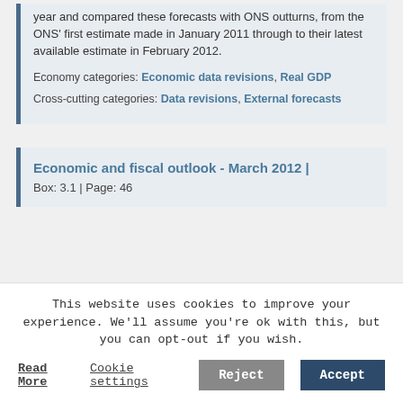year and compared these forecasts with ONS outturns, from the ONS' first estimate made in January 2011 through to their latest available estimate in February 2012.
Economy categories: Economic data revisions, Real GDP
Cross-cutting categories: Data revisions, External forecasts
Economic and fiscal outlook - March 2012 | Box: 3.1 | Page: 46
This website uses cookies to improve your experience. We'll assume you're ok with this, but you can opt-out if you wish.
Read More | Cookie settings | Reject | Accept